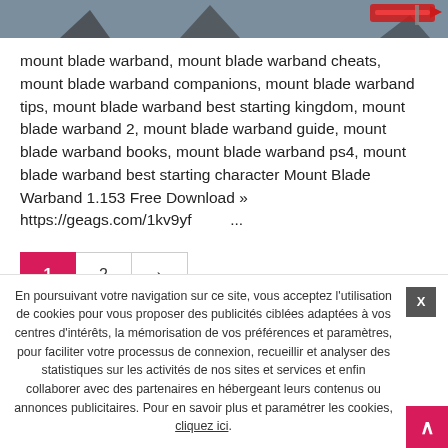[Figure (screenshot): Top banner image with game artwork showing a character silhouette and a red weapon/sword icon on the right against a gray-blue background.]
mount blade warband, mount blade warband cheats, mount blade warband companions, mount blade warband tips, mount blade warband best starting kingdom, mount blade warband 2, mount blade warband guide, mount blade warband books, mount blade warband ps4, mount blade warband best starting character Mount Blade Warband 1.153 Free Download » https://geags.com/1kv9yf          ...
Pagination: 1  2  >
En poursuivant votre navigation sur ce site, vous acceptez l'utilisation de cookies pour vous proposer des publicités ciblées adaptées à vos centres d'intérêts, la mémorisation de vos préférences et paramètres, pour faciliter votre processus de connexion, recueillir et analyser des statistiques sur les activités de nos sites et services et enfin collaborer avec des partenaires en hébergeant leurs contenus ou annonces publicitaires. Pour en savoir plus et paramétrer les cookies, cliquez ici.